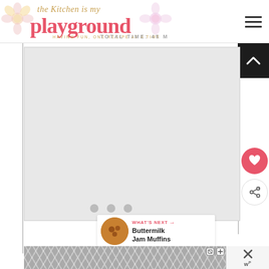[Figure (logo): The Kitchen is my Playground blog logo with pink cupcake decorations and cursive/script text]
TOTAL TIME: 45 M
[Figure (other): Main content area - white/light gray rectangle placeholder for recipe content]
[Figure (other): Three loading dots indicator]
[Figure (other): Pink heart favorite button]
[Figure (other): Share button with plus icon]
WHAT'S NEXT → Buttermilk Jam Muffins
[Figure (other): Advertisement banner with geometric diamond/chevron pattern in gray, with close button and Workable logo]